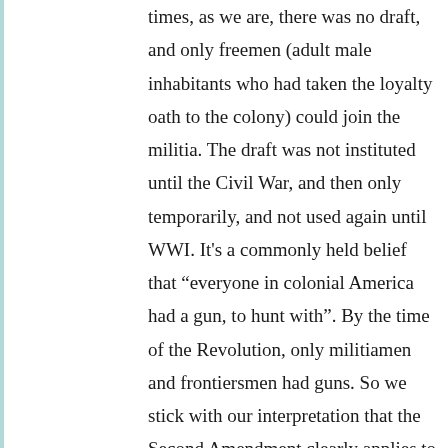times, as we are, there was no draft, and only freemen (adult male inhabitants who had taken the loyalty oath to the colony) could join the militia. The draft was not instituted until the Civil War, and then only temporarily, and not used again until WWI. It's a commonly held belief that “everyone in colonial America had a gun, to hunt with”. By the time of the Revolution, only militiamen and frontiersmen had guns. So we stick with our interpretation that the Second Amendment clearly applies to the militia, which served in place of a